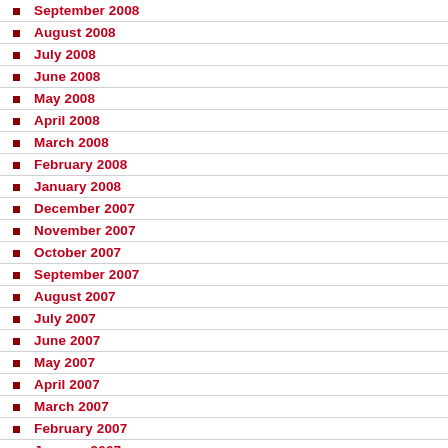September 2008
August 2008
July 2008
June 2008
May 2008
April 2008
March 2008
February 2008
January 2008
December 2007
November 2007
October 2007
September 2007
August 2007
July 2007
June 2007
May 2007
April 2007
March 2007
February 2007
January 2007
December 2006